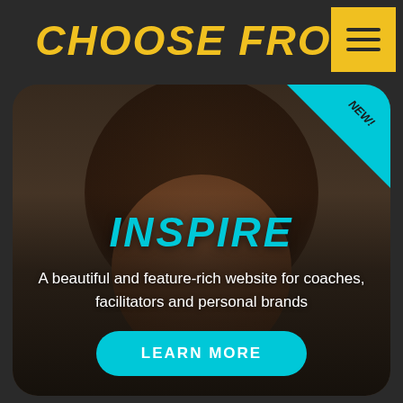CHOOSE FROM
[Figure (photo): Smiling woman with curly hair, portrait photo used as card background. A cyan 'NEW!' ribbon badge is in the top-right corner of the card.]
INSPIRE
A beautiful and feature-rich website for coaches, facilitators and personal brands
LEARN MORE